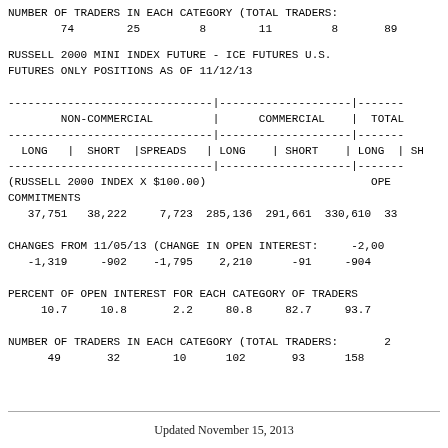NUMBER OF TRADERS IN EACH CATEGORY (TOTAL TRADERS:    74    25     8    11     8    89
RUSSELL 2000 MINI INDEX FUTURE - ICE FUTURES U.S. FUTURES ONLY POSITIONS AS OF 11/12/13
| NON-COMMERCIAL (LONG, SHORT, SPREADS) | COMMERCIAL (LONG, SHORT) | TOTAL (LONG, SH...) |
| --- | --- | --- |
| 37,751 | 38,222 | 7,723 | 285,136 | 291,661 | 330,610 | 33... |
| -1,319 | -902 | -1,795 | 2,210 | -91 | -904 | ... |
| 10.7 | 10.8 | 2.2 | 80.8 | 82.7 | 93.7 |  |
NUMBER OF TRADERS IN EACH CATEGORY (TOTAL TRADERS:    49    32    10   102    93   158
Updated November 15, 2013